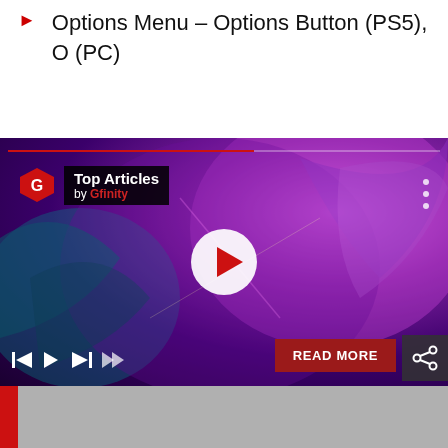Options Menu – Options Button (PS5), O (PC)
[Figure (screenshot): Video player screenshot showing a fantasy card game artwork with purple/magenta dragon and bird creatures. Overlay shows 'Top Articles by Gfinity' badge in top-left, a white circle play button in center, media playback controls in bottom-left, a red 'READ MORE' button in bottom-right, and a share icon. A red/gray progress bar appears below the video.]